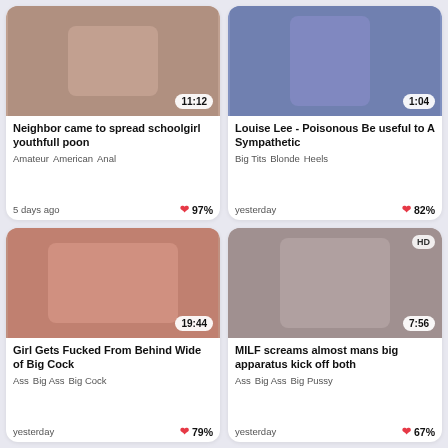[Figure (photo): Video thumbnail - top left card]
Neighbor came to spread schoolgirl youthfull poon
Amateur  American  Anal
5 days ago  97%
[Figure (photo): Video thumbnail - top right card]
Louise Lee - Poisonous Be useful to A Sympathetic
Big Tits  Blonde  Heels
yesterday  82%
[Figure (photo): Video thumbnail - bottom left card]
Girl Gets Fucked From Behind Wide of Big Cock
Ass  Big Ass  Big Cock
yesterday  79%
[Figure (photo): Video thumbnail - bottom right card]
MILF screams almost mans big apparatus kick off both
Ass  Big Ass  Big Pussy
yesterday  67%